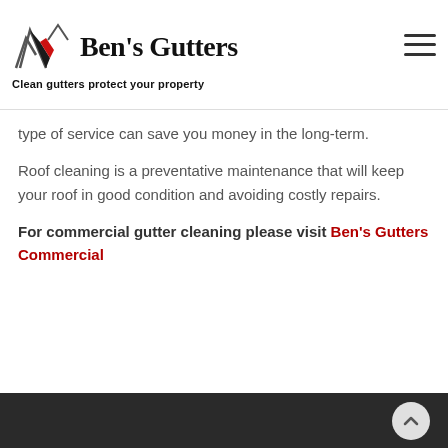Ben's Gutters — Clean gutters protect your property
type of service can save you money in the long-term.
Roof cleaning is a preventative maintenance that will keep your roof in good condition and avoiding costly repairs.
For commercial gutter cleaning please visit Ben's Gutters Commercial